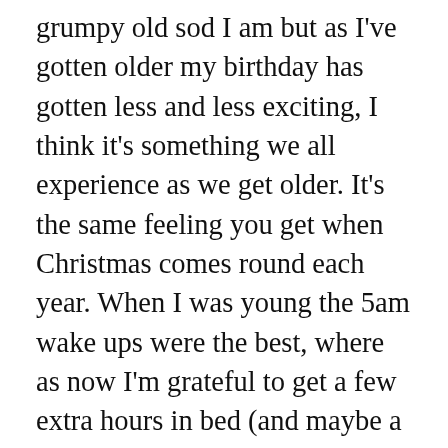grumpy old sod I am but as I've gotten older my birthday has gotten less and less exciting, I think it's something we all experience as we get older. It's the same feeling you get when Christmas comes round each year. When I was young the 5am wake ups were the best, where as now I'm grateful to get a few extra hours in bed (and maybe a few more wines in the blood stream). Now don't get me wrong, I always end up having an amazing birthday, with my family and friends making it memorable every year but I think as I'm hitting my mid-twenties (GULP!) with every February that passes it just terrifies me how quickly the time flies.